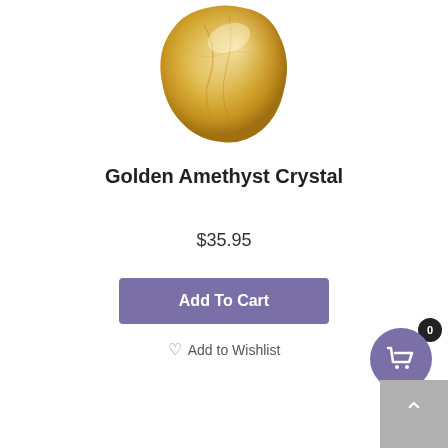[Figure (photo): Golden Amethyst Crystal stone - a golden/amber colored rough crystal gemstone photographed on white background]
Golden Amethyst Crystal
$35.95
Add To Cart
Add to Wishlist